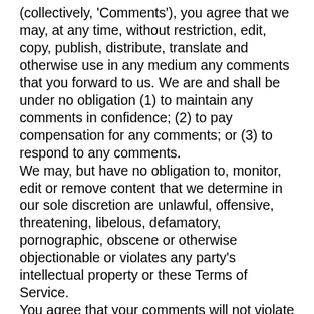(collectively, 'Comments'), you agree that we may, at any time, without restriction, edit, copy, publish, distribute, translate and otherwise use in any medium any comments that you forward to us. We are and shall be under no obligation (1) to maintain any comments in confidence; (2) to pay compensation for any comments; or (3) to respond to any comments.
We may, but have no obligation to, monitor, edit or remove content that we determine in our sole discretion are unlawful, offensive, threatening, libelous, defamatory, pornographic, obscene or otherwise objectionable or violates any party's intellectual property or these Terms of Service.
You agree that your comments will not violate any right of any third-party, including copyright, trademark, privacy, personality or other personal or proprietary right. You further agree that your comments will not contain libelous or otherwise unlawful, abusive or obscene material, or contain any computer virus or other malware that could in any